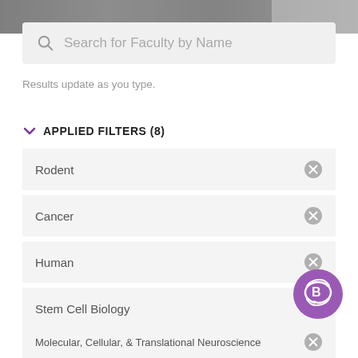[Figure (screenshot): Top photo strip showing a blurred outdoor background image]
Search for Faculty by Name
Results update as you type.
APPLIED FILTERS (8)
Rodent
Cancer
Human
Stem Cell Biology
Molecular, Cellular, & Translational Neuroscience